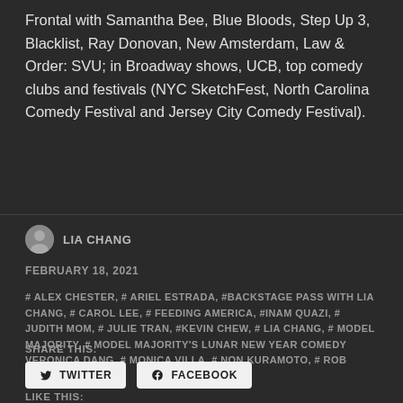Frontal with Samantha Bee, Blue Bloods, Step Up 3, Blacklist, Ray Donovan, New Amsterdam, Law & Order: SVU; in Broadway shows, UCB, top comedy clubs and festivals (NYC SketchFest, North Carolina Comedy Festival and Jersey City Comedy Festival).
LIA CHANG
FEBRUARY 18, 2021
# ALEX CHESTER, # ARIEL ESTRADA, # BACKSTAGE PASS WITH LIA CHANG, # CAROL LEE, # FEEDING AMERICA, # INAM QUAZI, # JUDITH MOM, # JULIE TRAN, # KEVIN CHEW, # LIA CHANG, # MODEL MAJORITY, # MODEL MAJORITY'S LUNAR NEW YEAR COMEDY VERONICA DANG, # MONICA VILLA, # NON KURAMOTO, # ROB CHEN, # VIET VO
SHARE THIS:
TWITTER
FACEBOOK
LIKE THIS: